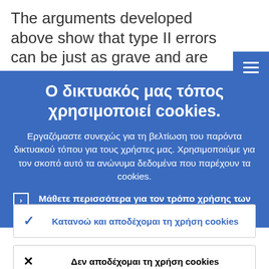The arguments developed above show that type II errors can be just as grave and are
Ο δικτυακός μας τόπος χρησιμοποιεί cookies.
Εργαζόμαστε συνεχώς για τη βελτίωση του παρόντα δικτυακού τόπου για τους χρήστες μας. Χρησιμοποιύμε για τον σκοπό αυτό τα ανώνυμα δεδομένα που παρέχουν τα cookies.
› Μάθετε περισσότερα για τον τρόπο χρήσης των cookies.
✓ Κατανοώ και αποδέχομαι τη χρήση cookies
✕ Δεν αποδέχομαι τη χρήση cookies